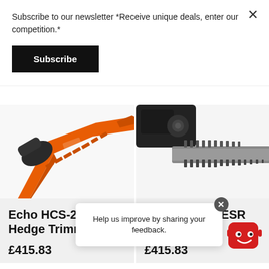Subscribe to our newsletter *Receive unique deals, enter our competition.*
Subscribe
[Figure (photo): Close-up of an orange hedge trimmer blade (Echo HCS-2810ES) angled diagonally across white background]
[Figure (photo): Close-up of a black/silver hedge trimmer blade (Echo HC2810ESR) on white background]
Echo HCS-2810ES Hedge Trimmer
Echo HC2810ESR He...
£415.83
£415.83
Help us improve by sharing your feedback.